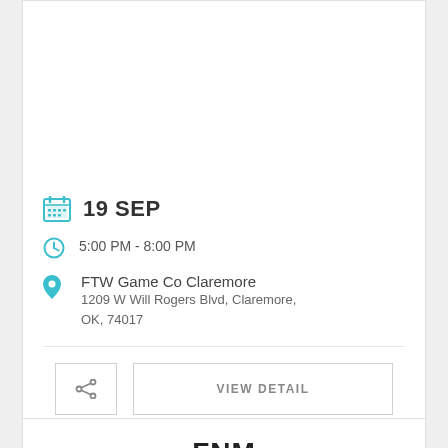[Figure (other): Top empty white card area]
19 SEP
5:00 PM - 8:00 PM
FTW Game Co Claremore
1209 W Will Rogers Blvd, Claremore, OK, 74017
VIEW DETAIL
[Figure (other): Bottom card with FNM text logo partially visible]